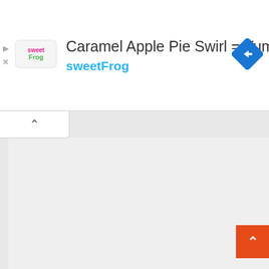[Figure (screenshot): SweetFrog advertisement banner with logo, title 'Caramel Apple Pie Swirl = Yum', subtitle 'sweetFrog', and a blue navigation diamond icon]
[Figure (screenshot): Collapsed ad tab with upward caret chevron, main page content area in light gray, and an orange back-to-top button in bottom right corner]